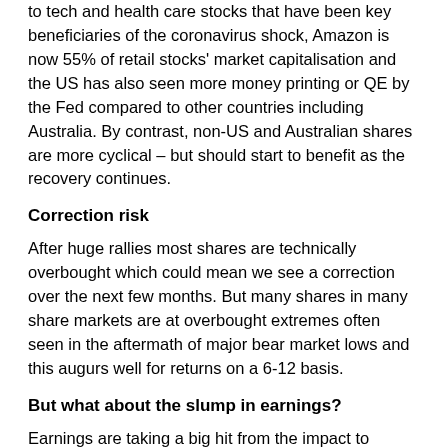to tech and health care stocks that have been key beneficiaries of the coronavirus shock, Amazon is now 55% of retail stocks' market capitalisation and the US has also seen more money printing or QE by the Fed compared to other countries including Australia. By contrast, non-US and Australian shares are more cyclical – but should start to benefit as the recovery continues.
Correction risk
After huge rallies most shares are technically overbought which could mean we see a correction over the next few months. But many shares in many share markets are at overbought extremes often seen in the aftermath of major bear market lows and this augurs well for returns on a 6-12 basis.
But what about the slump in earnings?
Earnings are taking a big hit from the impact to economic activity and this has seen earnings